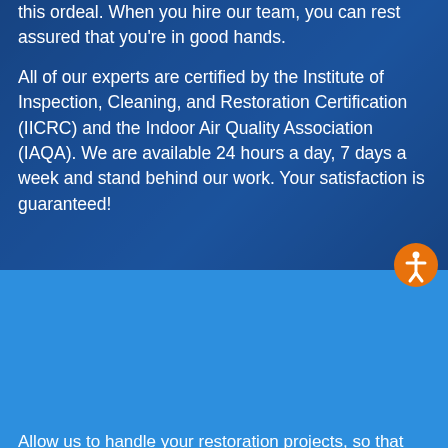this ordeal. When you hire our team, you can rest assured that you're in good hands.
All of our experts are certified by the Institute of Inspection, Cleaning, and Restoration Certification (IICRC) and the Indoor Air Quality Association (IAQA). We are available 24 hours a day, 7 days a week and stand behind our work. Your satisfaction is guaranteed!
Excellent Restoration Services in Geneva & Surrounding Areas
Allow us to handle your restoration projects, so that